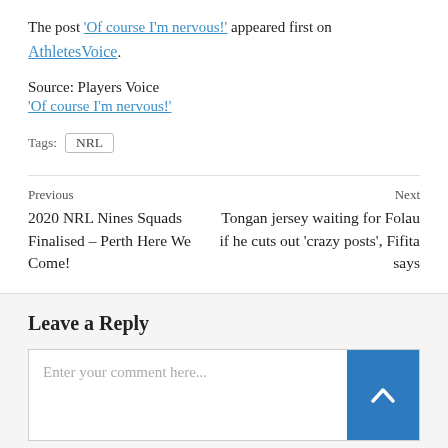The post 'Of course I'm nervous!' appeared first on AthletesVoice.
Source: Players Voice
'Of course I'm nervous!'
Tags: NRL
Previous
2020 NRL Nines Squads Finalised – Perth Here We Come!
Next
Tongan jersey waiting for Folau if he cuts out 'crazy posts', Fifita says
Leave a Reply
Enter your comment here...